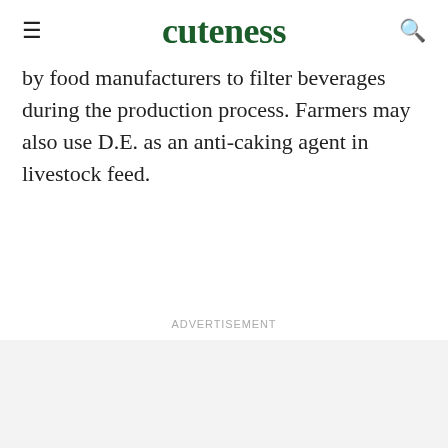cuteness
by food manufacturers to filter beverages during the production process. Farmers may also use D.E. as an anti-caking agent in livestock feed.
Advertisement